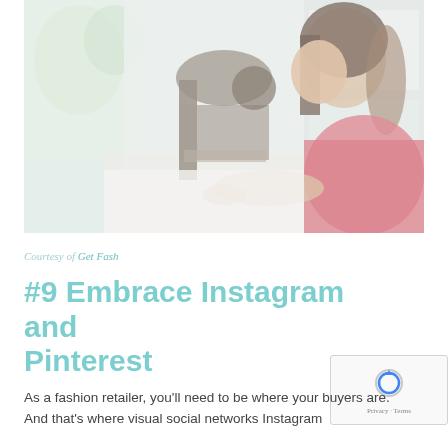[Figure (photo): A woman with dark hair wearing a red top, sitting sideways at a vintage sewing machine on a white surface, with greenery visible through a window in the background. The image has a light, washed-out tone.]
Courtesy of Get Fash
#9 Embrace Instagram and Pinterest
As a fashion retailer, you'll need to be where your buyers are. And that's where visual social networks Instagram